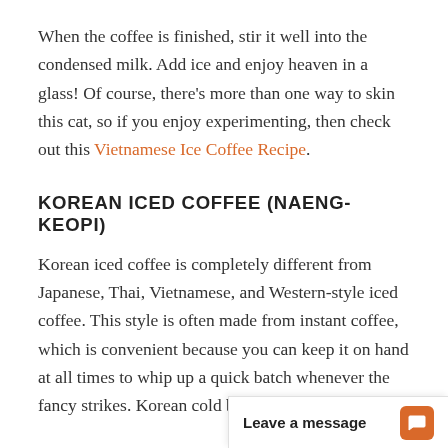When the coffee is finished, stir it well into the condensed milk. Add ice and enjoy heaven in a glass! Of course, there's more than one way to skin this cat, so if you enjoy experimenting, then check out this Vietnamese Ice Coffee Recipe.
KOREAN ICED COFFEE (NAENG-KEOPI)
Korean iced coffee is completely different from Japanese, Thai, Vietnamese, and Western-style iced coffee. This style is often made from instant coffee, which is convenient because you can keep it on hand at all times to whip up a quick batch whenever the fancy strikes. Korean cold brew, or "Naer... few different ways